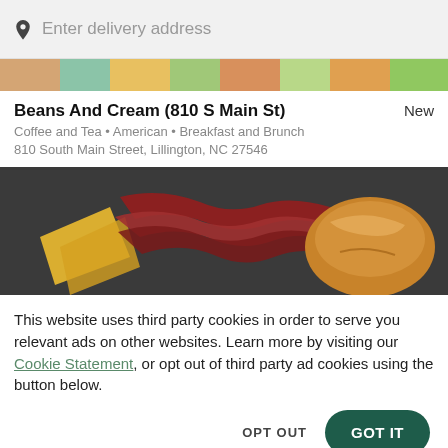Enter delivery address
[Figure (photo): Top banner showing colorful food dishes]
Beans And Cream (810 S Main St)
New
Coffee and Tea • American • Breakfast and Brunch
810 South Main Street, Lillington, NC 27546
[Figure (photo): Food photo showing bacon, cheese slices, and a bread roll on a dark surface]
This website uses third party cookies in order to serve you relevant ads on other websites. Learn more by visiting our Cookie Statement, or opt out of third party ad cookies using the button below.
OPT OUT
GOT IT